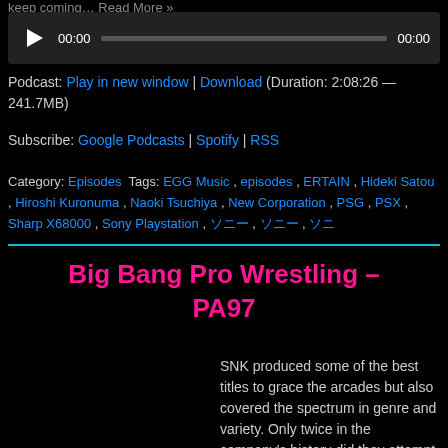keep coming... Read More »
[Figure (other): Audio player with play button, 00:00 time display, progress bar, and 00:00 end time on dark background]
Podcast: Play in new window | Download (Duration: 2:08:26 — 241.7MB)
Subscribe: Google Podcasts | Spotify | RSS
Category: Episodes Tags: EGG Music , episodes , ERTAIN , Hideki Satou , Hiroshi Kuronuma , Naoki Tsuchiya , New Corporation , PSG , PSX , Sharp X68000 , Sony Playstation , 日本語 , 日本語 , 日本
Big Bang Pro Wrestling – PA97
SNK produced some of the best titles to grace the arcades but also covered the spectrum in genre and variety. Only twice in the company's history did they attempt to produce a wrestling